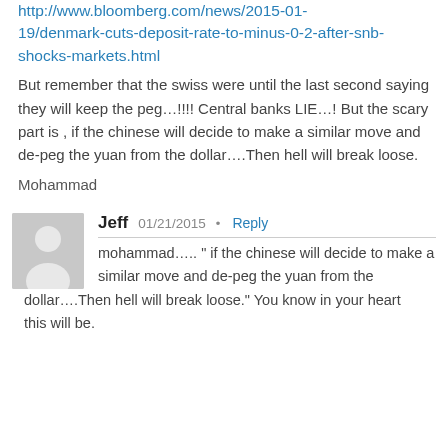http://www.bloomberg.com/news/2015-01-19/denmark-cuts-deposit-rate-to-minus-0-2-after-snb-shocks-markets.html
But remember that the swiss were until the last second saying they will keep the peg…!!!! Central banks LIE…! But the scary part is , if the chinese will decide to make a similar move and de-peg the yuan from the dollar….Then hell will break loose.
Mohammad
Jeff  01/21/2015 • Reply
mohammad….. " if the chinese will decide to make a similar move and de-peg the yuan from the dollar….Then hell will break loose." You know in your heart this will be.